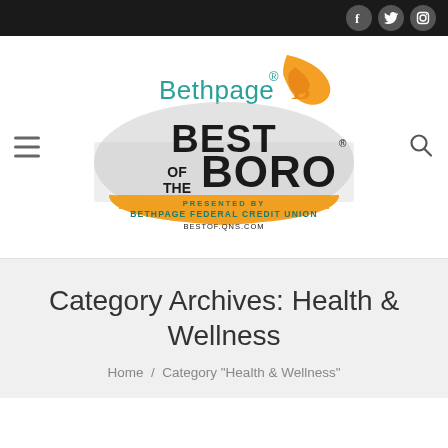Social icons: Facebook, Twitter, Instagram
[Figure (logo): Bethpage Best of the Boro logo — presented by Bethpage Federal Credit Union, bestof.qns.com]
Category Archives: Health & Wellness
Home / Category "Health & Wellness"